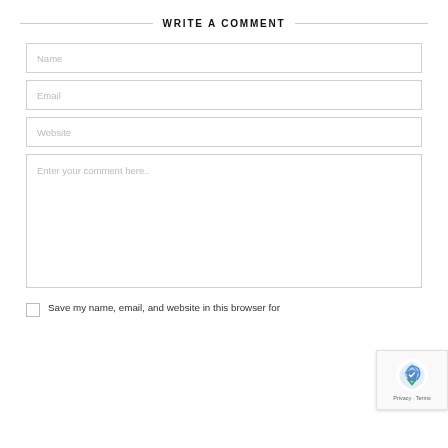WRITE A COMMENT
Name
Email
Website
Enter your comment here..
Save my name, email, and website in this browser for